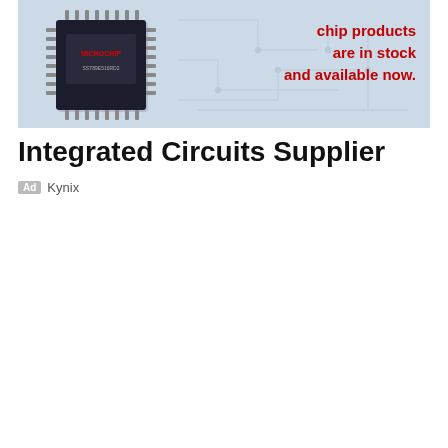[Figure (illustration): Advertisement banner with light blue background, Microchip/SST branded IC chip image on left, and red bold text on right reading 'chip products are in stock and available now.' with faint circuit trace patterns in background.]
Integrated Circuits Supplier
Ad  Kynix